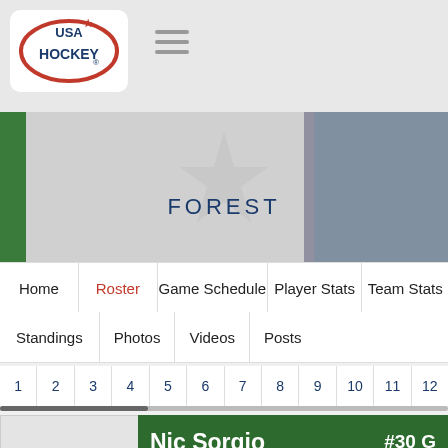[Figure (logo): USA Hockey logo — red oval with blue star and text USA HOCKEY]
[Figure (photo): Banner background with faded hockey imagery, USA flag colors visible on right side, Forest team banner]
FOREST
Home | Roster | Game Schedule | Player Stats | Team Stats
Standings | Photos | Videos | Posts
1 2 3 4 5 6 7 8 9 10 11 12
[Figure (photo): Player silhouette placeholder photo (grey background with generic person icon)]
Nic Sorgio  #30 G
Height  6'2"